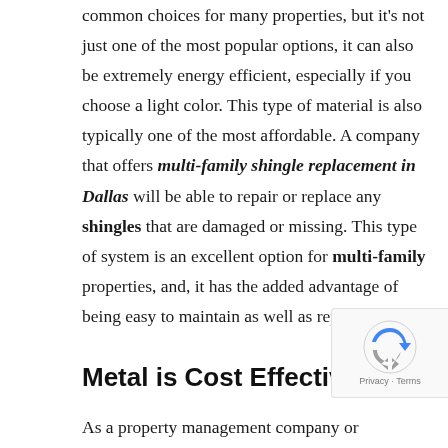common choices for many properties, but it's not just one of the most popular options, it can also be extremely energy efficient, especially if you choose a light color. This type of material is also typically one of the most affordable. A company that offers multi-family shingle replacement in Dallas will be able to repair or replace any shingles that are damaged or missing. This type of system is an excellent option for multi-family properties, and, it has the added advantage of being easy to maintain as well as repair.
Metal is Cost Effective
As a property management company or